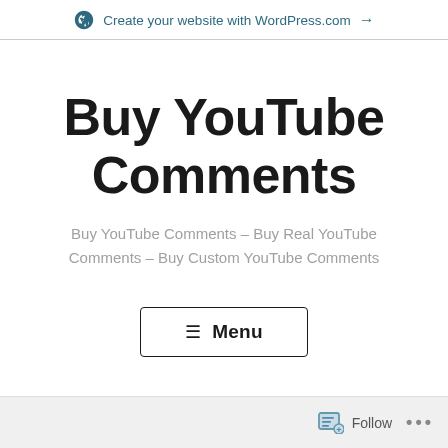Create your website with WordPress.com →
Buy YouTube Comments
Buy YouTube Comments – Buy Real YouTube Comments – Buy Custom YouTube Comments
[Figure (other): Menu button with hamburger icon and text 'Menu']
Follow •••